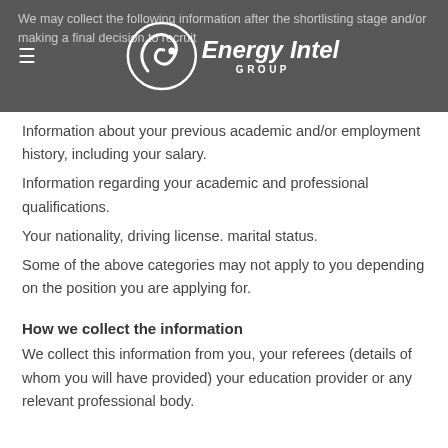We may collect the following information after the shortlisting stage and/or making a final decision to recruit
[Figure (logo): Energy Intel Group logo with stylized 'Ei' icon in white on dark grey background]
Information about your previous academic and/or employment history, including your salary.
Information regarding your academic and professional qualifications.
Your nationality, driving license. marital status.
Some of the above categories may not apply to you depending on the position you are applying for.
How we collect the information
We collect this information from you, your referees (details of whom you will have provided) your education provider or any relevant professional body.